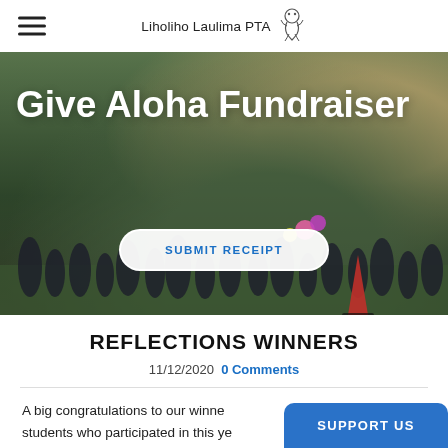Liholiho Laulima PTA
[Figure (photo): Outdoor group photo of children and adults gathered on a grass field for a school fundraiser event, with balloons and a red cone visible.]
Give Aloha Fundraiser
SUBMIT RECEIPT
REFLECTIONS WINNERS
11/12/2020   0 Comments
A big congratulations to our winners and all students who participated in this ye...